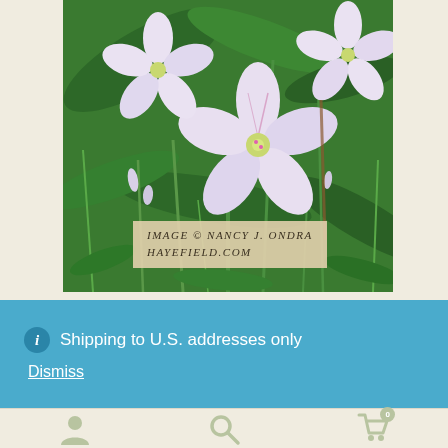[Figure (photo): Close-up photograph of white/pale pink wildflowers (spring beauties) with green stems and foliage. Watermark overlay reads 'Image © Nancy J. Ondra Hayefield.com' in serif italic uppercase text on a pale tan background.]
ⓘ Shipping to U.S. addresses only
Dismiss
[Figure (infographic): Footer navigation bar with three icons: person/account icon, search/magnifying glass icon, and shopping cart icon with badge showing '0'.]